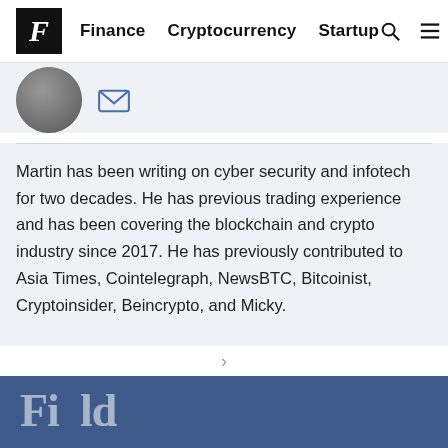F   Finance   Cryptocurrency   Startup
[Figure (photo): Author avatar photo (partially visible circle crop) with mail/envelope icon to the right]
Martin has been writing on cyber security and infotech for two decades. He has previous trading experience and has been covering the blockchain and crypto industry since 2017. He has previously contributed to Asia Times, Cointelegraph, NewsBTC, Bitcoinist, Cryptoinsider, Beincrypto, and Micky.
Fi... (partially visible large white text on dark blue background)